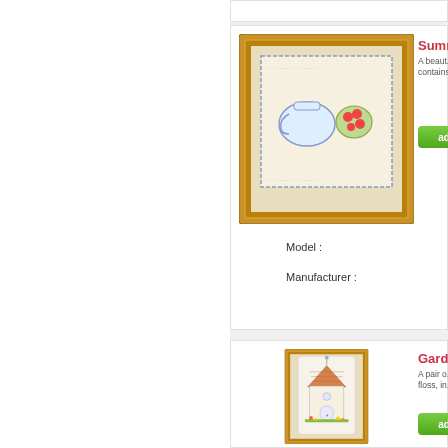[Figure (photo): Framed cross-stitch of a pitcher and fruit bowl with strawberries and melon]
Summ...
A beaut... contains...
Model :
Manufacturer :
[Figure (photo): Framed cross-stitch of a garden birdhouse with flowers]
Garde...
A pair o... floss, in...